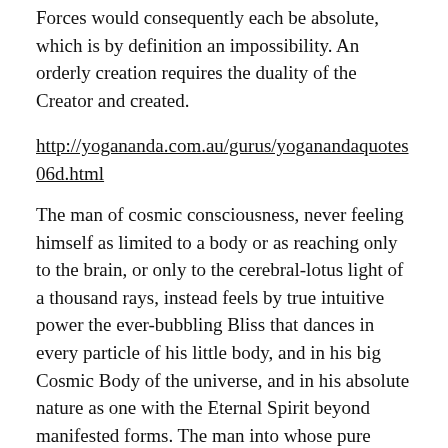Forces would consequently each be absolute, which is by definition an impossibility. An orderly creation requires the duality of the Creator and created.
http://yogananda.com.au/gurus/yoganandaquotes06d.html
The man of cosmic consciousness, never feeling himself as limited to a body or as reaching only to the brain, or only to the cerebral-lotus light of a thousand rays, instead feels by true intuitive power the ever-bubbling Bliss that dances in every particle of his little body, and in his big Cosmic Body of the universe, and in his absolute nature as one with the Eternal Spirit beyond manifested forms. The man into whose pure hand his divine bodily kingdom has been wholly delivered is no longer a human being with limited ego consciousness. In reality, he is the soul, individualized ever-existent, ever-